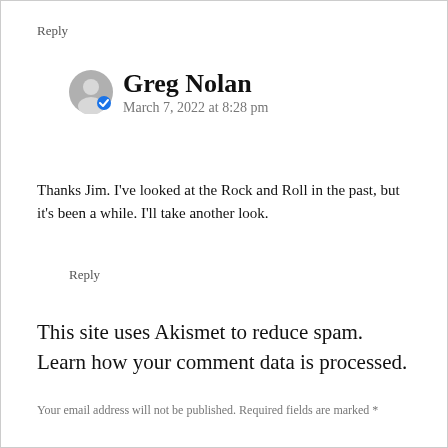Reply
Greg Nolan
March 7, 2022 at 8:28 pm
Thanks Jim. I've looked at the Rock and Roll in the past, but it's been a while. I'll take another look.
Reply
This site uses Akismet to reduce spam. Learn how your comment data is processed.
Your email address will not be published. Required fields are marked *